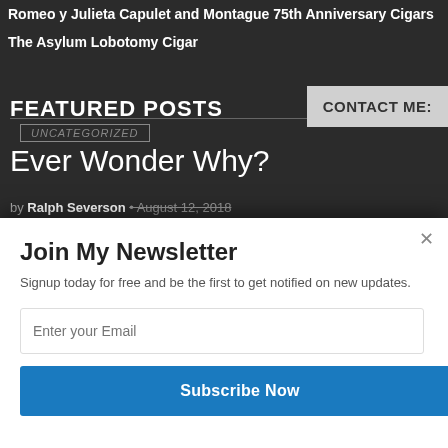Romeo y Julieta Capulet and Montague 75th Anniversary Cigars
The Asylum Lobotomy Cigar
FEATURED POSTS
CONTACT ME:
UNCATEGORIZED
Ever Wonder Why?
by Ralph Severson • August 12, 2018
[Figure (photo): Stylized photo of a woman in leather clothing and hat against dark background]
When a woman wears leather clothing a man's heart beats quicker, his throat gets dry, he goes weak in the knees...
Join My Newsletter
Signup today for free and be the first to get notified on new updates.
Enter your Email
Subscribe Now